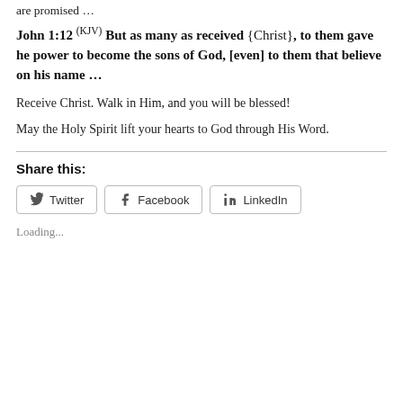are promised …
John 1:12 (KJV) But as many as received {Christ}, to them gave he power to become the sons of God, [even] to them that believe on his name …
Receive Christ. Walk in Him, and you will be blessed!
May the Holy Spirit lift your hearts to God through His Word.
Share this:
[Figure (screenshot): Social sharing buttons for Twitter, Facebook, and LinkedIn]
Loading...